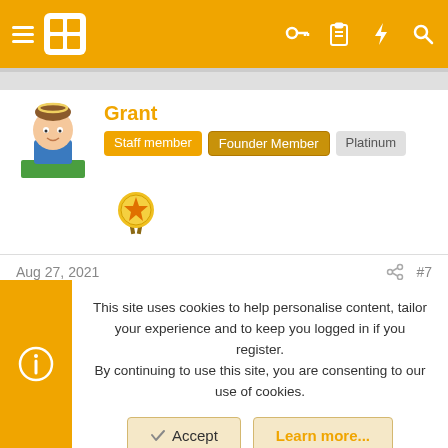Navigation bar with hamburger menu, site logo, and icons (key, clipboard, lightning, search)
Grant
Staff member | Founder Member | Platinum
[Figure (illustration): Avatar of a cartoon character and a gold star medal/badge]
Aug 27, 2021  #7
That wasn't from the covid jab 🤣
🤣😵🖊 Dansar, tommy dave, Alastair and 2 others
This site uses cookies to help personalise content, tailor your experience and to keep you logged in if you register.
By continuing to use this site, you are consenting to our use of cookies.
Accept  Learn more...